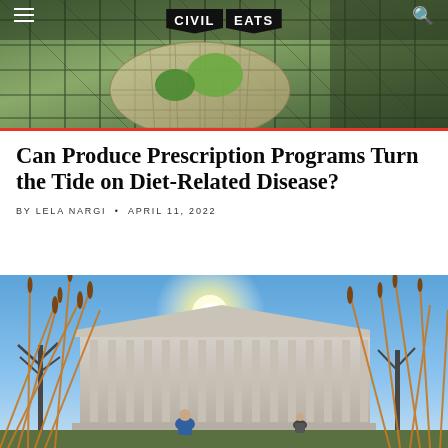Civil Eats
[Figure (photo): Close-up of vegetables in a mesh/net bag, cropped hero image at top of article page]
Can Produce Prescription Programs Turn the Tide on Diet-Related Disease?
BY LELA NARGI • APRIL 11, 2022
[Figure (photo): Outdoor photo of a government building with bright sunlight, dry tall grasses in the foreground, and a person in blue jacket in the scene]